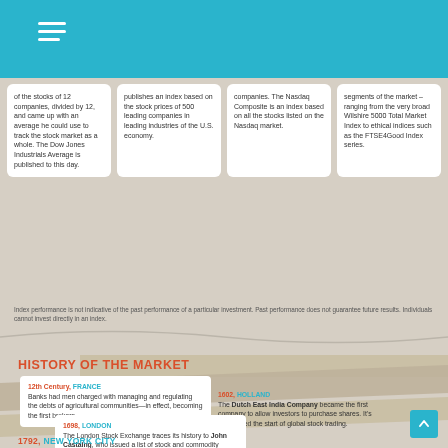[Figure (infographic): Teal header bar with hamburger menu icon]
of the stocks of 12 companies, divided by 12, and came up with an average he could use to track the stock market as a whole. The Dow Jones Industrials Average is published to this day.
publishes an index based on the stock prices of 500 leading companies in leading industries of the U.S. economy.
companies. The Nasdaq Composite is an index based on all the stocks listed on the Nasdaq market.
segments of the market – ranging from the very broad Wilshire 5000 Total Market Index to ethical indices such as the FTSE4Good Index series.
Index performance is not indicative of the past performance of a particular investment. Past performance does not guarantee future results. Individuals cannot invest directly in an index.
HISTORY OF THE MARKET
12th Century, FRANCE
Banks had men charged with managing and regulating the debts of agricultural communities—in effect, becoming the first brokers.
1602, HOLLAND
The Dutch East India Company became the first company to allow investors to purchase shares. It's considered the start of global stock trading.
1698, LONDON
The London Stock Exchange traces its history to John Castaing, who issued a list of stock and commodity prices at a coffee house in London.
1792, NEW YORK CITY